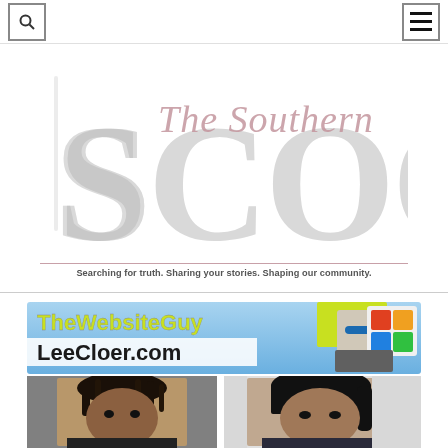[Figure (screenshot): Navigation bar with search icon (magnifying glass in box) on the left and hamburger menu icon (three lines in box) on the right]
[Figure (logo): The Southern Scoop logo: large decorative 'SCOOP' in gray with cursive 'The Southern' overlay, tagline: 'Searching for truth. Sharing your stories. Shaping our community.']
[Figure (photo): Advertisement banner: 'The Website Guy LeeCloer.com' featuring a man with sunglasses standing in front of a yellow vehicle, with colorful cloer logo on the right]
[Figure (photo): Two mugshot-style photographs side by side: a young Black male with dreadlocks on the left, and a young Black female with dark hair on the right, both against a white/gray wall background]